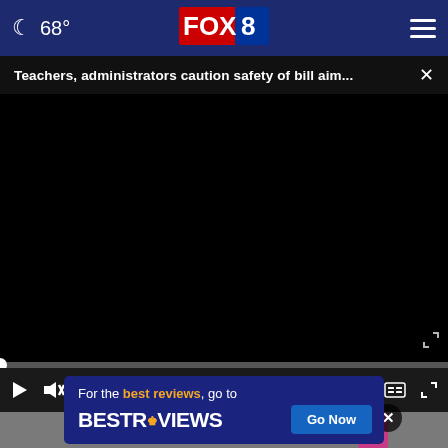68° FOX 8
Teachers, administrators caution safety of bill aim... ×
[Figure (screenshot): Black video player area with progress bar at 0:00 and playback controls (play, mute, timestamp 00:00, captions, fullscreen)]
[Figure (screenshot): Partially visible outdoor scene below the video player, with a pink object and a circular X close button]
[Figure (other): BestReviews advertisement banner: 'For the best reviews, go to BESTREVIEWS' with a 'Go Now' button]